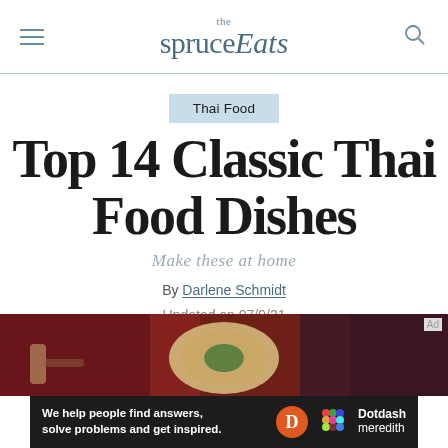the spruce Eats
Thai Food
Top 14 Classic Thai Food Dishes
Make these at home
By Darlene Schmidt
Updated on 07/9/21
[Figure (photo): Photo of Thai food dish on a plate with dark red background]
We help people find answers, solve problems and get inspired.
[Figure (logo): Dotdash Meredith logo with colorful dot grid icon]